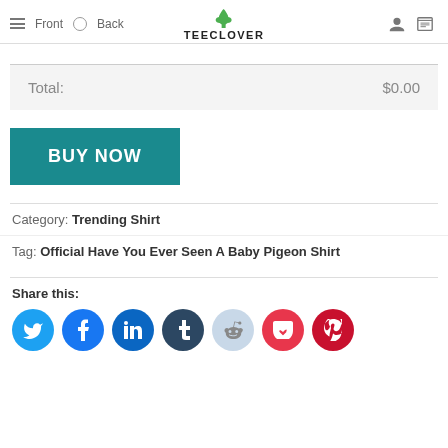Front | Back | TEECLOVER
| Total: | $0.00 |
| --- | --- |
BUY NOW
Category: Trending Shirt
Tag: Official Have You Ever Seen A Baby Pigeon Shirt
Share this:
[Figure (other): Social share icons: Twitter, Facebook, LinkedIn, Tumblr, Reddit, Pocket, Pinterest]